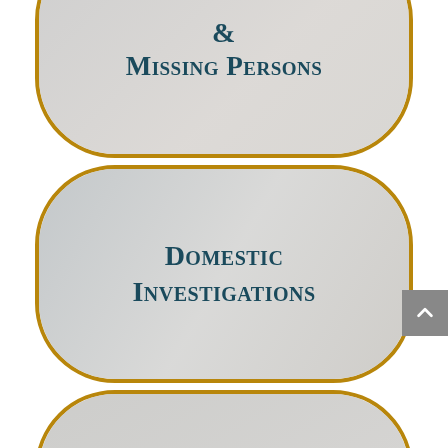[Figure (infographic): Rounded rectangle card with gold border, partially visible at top, containing text '& Missing Persons' over a muted photo background of a person]
[Figure (infographic): Rounded rectangle card with gold border in center, containing text 'Domestic Investigations' over a muted photo background of a person with binoculars]
[Figure (infographic): Rounded rectangle card with gold border, partially visible at bottom, containing text 'Infidelity' over a muted photo background]